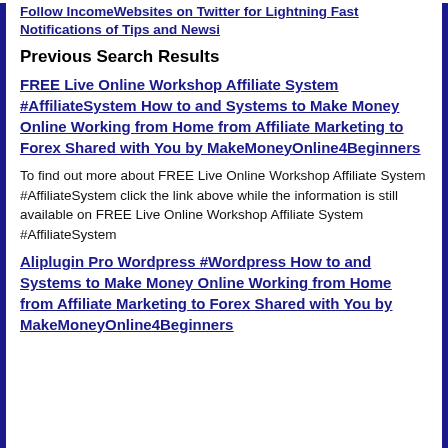Follow IncomeWebsites on Twitter for Lightning Fast Notifications of Tips and Newsi
Previous Search Results
FREE Live Online Workshop Affiliate System #AffiliateSystem How to and Systems to Make Money Online Working from Home from Affiliate Marketing to Forex Shared with You by MakeMoneyOnline4Beginners
To find out more about FREE Live Online Workshop Affiliate System #AffiliateSystem click the link above while the information is still available on FREE Live Online Workshop Affiliate System #AffiliateSystem
Aliplugin Pro Wordpress #Wordpress How to and Systems to Make Money Online Working from Home from Affiliate Marketing to Forex Shared with You by MakeMoneyOnline4Beginners